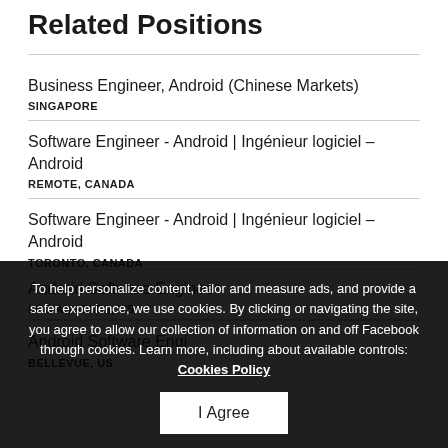Related Positions
Business Engineer, Android (Chinese Markets)
SINGAPORE
Software Engineer - Android | Ingénieur logiciel – Android
REMOTE, CANADA
Software Engineer - Android | Ingénieur logiciel – Android
TORONTO, CANADA
Android Software Engineer
LOS ANGELES, US
Android Software Engineer
BELLEVUE, US
To help personalize content, tailor and measure ads, and provide a safer experience, we use cookies. By clicking or navigating the site, you agree to allow our collection of information on and off Facebook through cookies. Learn more, including about available controls: Cookies Policy